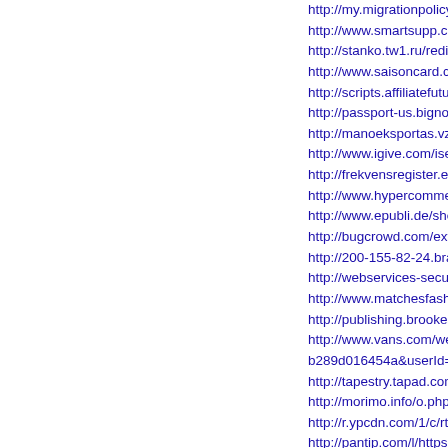http://my.migrationpolicy.org/salsa/track.jsp?url=https:/...
http://www.smartsupp.com/affiliate/click?id=1124&url=...
http://stanko.tw1.ru/redirect.php?url=https://freeworkou...
http://www.saisoncard.co.jp/cgi-bin/count.cgi?pal=632...
http://scripts.affiliatefuture.com/AFClick.asp?affiliateID=...
http://passport-us.bignox.com/sso/logout?service=https...
http://manoeksportas.vz.lt/invitePage.do?id=30978214...
http://www.igive.com/isearch/NonStoreExit.cfm?type=1...
http://frekvensregister.ens.dk/Common/ModalFramese...
http://www.hypercomments.com/api/go?url=https://free...
http://www.epubli.de/shop/buch/45209/go?link=https://f...
http://bugcrowd.com/external_redirect?site=https://free...
http://200-155-82-24.bradesco.com.br/conteudo/pesso...
http://webservices-secure.ericsoft.com/CRM/UpdateCo...
http://www.matchesfashion.com/us/affiliate?url=https://...
http://publishing.brookes.ac.uk/?URL=onlinecustomwo...
http://www.vans.com/webapp/wcs/stores/servlet/LinkSh...
b289d016454a&userId=18pb9l5ifyw477f6&particleId=e...
http://tapestry.tapad.com/tapestry/1?ta_partner_id=950...
http://morimo.info/o.php?url=https://freeworkoutplanne...
http://r.ypcdn.com/1/c/rtd?ptid=YWSIR&vrid=42bd4a9r...
http://pantip.com/l/https:onlinecustomworkout.wordpres...
http://www.zlatestranky.cz/Cookies/Disagree?returnUrl=...
http://chtbl.com/track/118167/onlinecustomworkout.wo...
http://005.free-counters.co.uk/count-072.pl?count=reg2...
http://links.members.thrivent.com/ctt?m=17286294&r=...
http://www.chope.co/bali-restaurants/passport?a=logo...